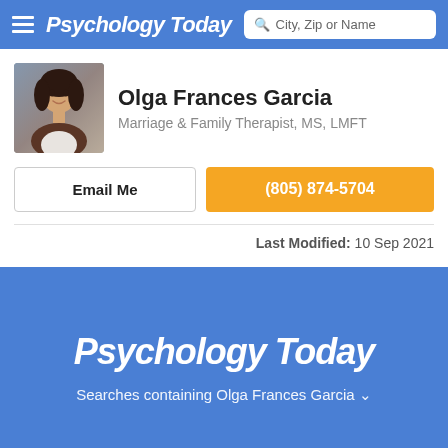Psychology Today — City, Zip or Name search bar
Olga Frances Garcia
Marriage & Family Therapist, MS, LMFT
Email Me
(805) 874-5704
Last Modified: 10 Sep 2021
[Figure (logo): Psychology Today logo in white bold italic text on blue background]
Searches containing Olga Frances Garcia ∨